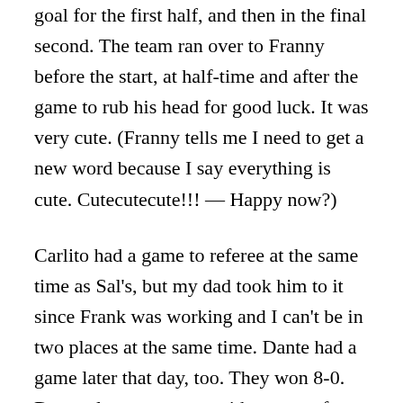goal for the first half, and then in the final second. The team ran over to Franny before the start, at half-time and after the game to rub his head for good luck. It was very cute. (Franny tells me I need to get a new word because I say everything is cute. Cutecutecute!!! — Happy now?)
Carlito had a game to referee at the same time as Sal's, but my dad took him to it since Frank was working and I can't be in two places at the same time. Dante had a game later that day, too. They won 8-0. Dante plays on a team with a crew of very talented players that are a lot of fun to watch. Some games are very intense.